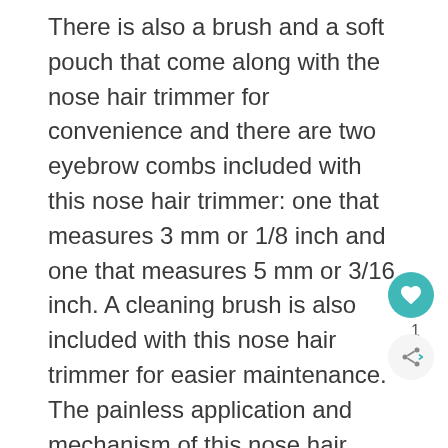There is also a brush and a soft pouch that come along with the nose hair trimmer for convenience and there are two eyebrow combs included with this nose hair trimmer: one that measures 3 mm or 1/8 inch and one that measures 5 mm or 3/16 inch. A cleaning brush is also included with this nose hair trimmer for easier maintenance. The painless application and mechanism of this nose hair trimmer is thanks to its specially designed features that will eliminate pulling that is very painful and there is also a styling attachment included in this nose hair trimmer for your convenience.